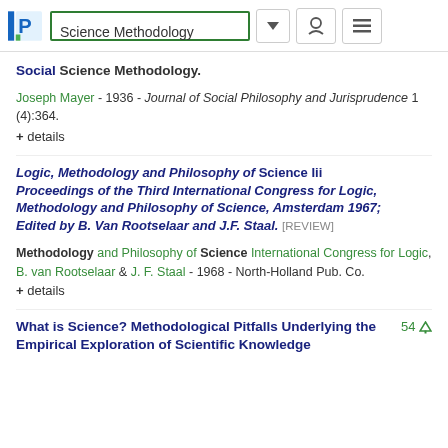Science Methodology
Social Science Methodology.
Joseph Mayer - 1936 - Journal of Social Philosophy and Jurisprudence 1 (4):364.
+ details
Logic, Methodology and Philosophy of Science Iii Proceedings of the Third International Congress for Logic, Methodology and Philosophy of Science, Amsterdam 1967; Edited by B. Van Rootselaar and J.F. Staal. [REVIEW]
Methodology and Philosophy of Science International Congress for Logic, B. van Rootselaar & J. F. Staal - 1968 - North-Holland Pub. Co.
+ details
What is Science? Methodological Pitfalls Underlying the Empirical Exploration of Scientific Knowledge
54 downloads